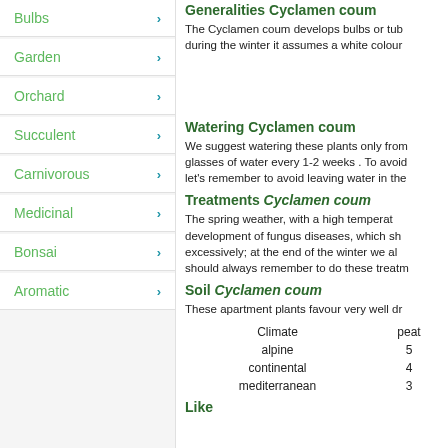Bulbs
Garden
Orchard
Succulent
Carnivorous
Medicinal
Bonsai
Aromatic
Generalities Cyclamen coum
The Cyclamen coum develops bulbs or tub during the winter it assumes a white colour
Watering Cyclamen coum
We suggest watering these plants only from glasses of water every 1-2 weeks . To avoid let's remember to avoid leaving water in the
Treatments Cyclamen coum
The spring weather, with a high temperat development of fungus diseases, which sh excessively; at the end of the winter we al should always remember to do these treatm
Soil Cyclamen coum
These apartment plants favour very well dr
| Climate | peat |
| --- | --- |
| alpine | 5 |
| continental | 4 |
| mediterranean | 3 |
Like